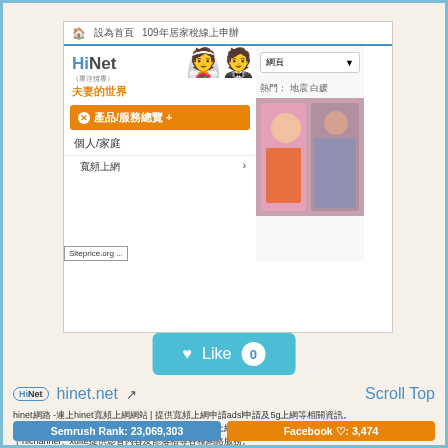[Figure (screenshot): Screenshot of hinet.net website showing the HiNet portal with navigation, logo with wedding couple illustration, product/service menu in Chinese, and a photo of women]
[Figure (other): Like button showing heart icon, 'Like' text, and count of 0 on teal background]
hinet.net
hinet網路 -連上hinet寬頻上網網站 | 提供寬頻上網申請adsl申請及5g上網等相關資訊。連上hinet寬頻上網提供各種isp上網方式，提供寬頻上網申請adsl申請及5g上網等相關資訊，旗下hichannel、xuite提供影音內容及部落格等各種網路服務。
Semrush Rank: 23,069,303
Facebook ♡: 3,474